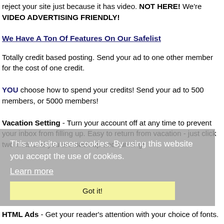reject your site just because it has video. NOT HERE! We're VIDEO ADVERTISING FRIENDLY!
We Have A Ton Of Features On Our Safelist
Totally credit based posting. Send your ad to one other member for the cost of one credit.
YOU choose how to spend your credits! Send your ad to 500 members, or 5000 members!
Vacation Setting - Turn your account off at any time to prevent your inbox from filling up. Easy to return from vacation - just click two links and you are back up and running!
HTML Ads - Get your reader's attention with your choice of fonts.